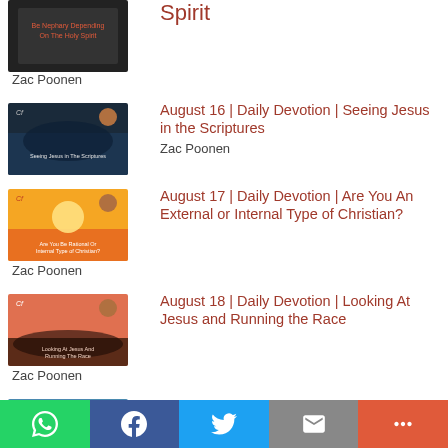[Figure (screenshot): Thumbnail for Holy Spirit devotion (partially visible at top)]
Spirit
Zac Poonen
[Figure (screenshot): Thumbnail for Seeing Jesus in the Scriptures devotion]
August 16 | Daily Devotion | Seeing Jesus in the Scriptures
Zac Poonen
[Figure (screenshot): Thumbnail for Are You An External or Internal Type of Christian devotion]
August 17 | Daily Devotion | Are You An External or Internal Type of Christian?
Zac Poonen
[Figure (screenshot): Thumbnail for Looking At Jesus and Running the Race devotion]
August 18 | Daily Devotion | Looking At Jesus and Running the Race
Zac Poonen
[Figure (screenshot): Thumbnail for See the Log in Your Own Eye devotion]
August 19 | Daily Devotion | See the Log in Your Own Eye
Zac Poonen